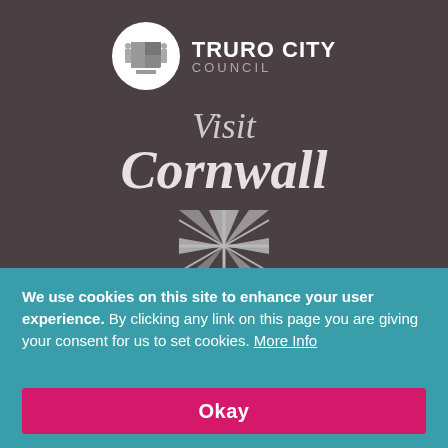[Figure (logo): Truro City Council logo with circular crest and text 'TRURO CITY COUNCIL']
[Figure (logo): Visit Cornwall logo in italic serif font]
[Figure (logo): Union Jack / UK flag stylized logo]
We use cookies on this site to enhance your user experience. By clicking any link on this page you are giving your consent for us to set cookies. More Info
Okay